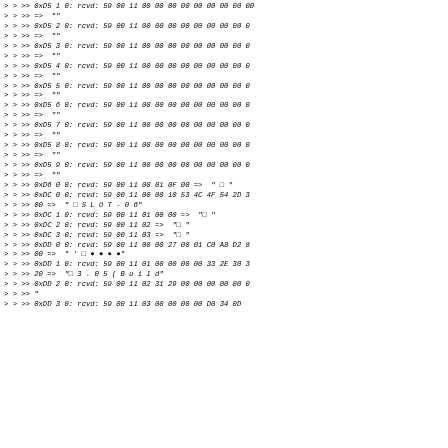> > >> 0xD5 1 0: rcvd: 59 00 11 00 00 00 00 00 00 00 00 00
> > >> => ""
> > >> 0xD5 2 0: rcvd: 59 00 11 00 00 00 00 00 00 00 00 0
> > >> => ""
> > >> 0xD5 3 0: rcvd: 59 00 11 00 00 00 00 00 00 00 00 0
> > >> => ""
> > >> 0xD5 4 0: rcvd: 59 00 11 00 00 00 00 00 00 00 00 0
> > >> => ""
> > >> 0xD5 5 0: rcvd: 59 00 11 00 00 00 00 00 00 00 00 0
> > >> => ""
> > >> 0xD5 6 0: rcvd: 59 00 11 00 00 00 00 00 00 00 00 0
> > >> => ""
> > >> 0xD5 7 0: rcvd: 59 00 11 00 00 00 00 00 00 00 00 0
> > >> => ""
> > >> 0xD5 8 0: rcvd: 59 00 11 00 00 00 00 00 00 00 00 0
> > >> => ""
> > >> 0xD5 9 0: rcvd: 59 00 11 00 00 00 00 00 00 00 00 0
> > >> => ""
> > >> 0xD6 0 0: rcvd: 59 00 11 00 01 0F 00 => " □ "
> > >> 0xDC 0 0: rcvd: 59 00 11 00 00 10 53 4C 4F 54 2D 3
> > >> 00 => " □ S L O T - 0 6"
> > >> 0xDC 1 0: rcvd: 59 00 11 01 00 00 => "□ "
> > >> 0xDC 2 0: rcvd: 59 00 11 02 => "□ "
> > >> 0xDC 3 0: rcvd: 59 00 11 03 => "□ "
> > >> 0xDD 0 0: rcvd: 59 00 11 00 00 27 00 01 C0 A8 D2 8
> > >> 00 => " ' □ ● ● ● ●"
> > >> 0xDD 1 0: rcvd: 59 00 11 01 00 00 00 00 33 2E 30 3
> > >> 20 => "□ 3 . 0 5 ( B u i l d"
> > >> 0xDD 2 0: rcvd: 59 00 11 02 31 29 00 00 00 00 00 0
> > >> "
> > >> 0xDD 3 0: rcvd: 59 00 11 03 00 00 00 00 D0 34 0D